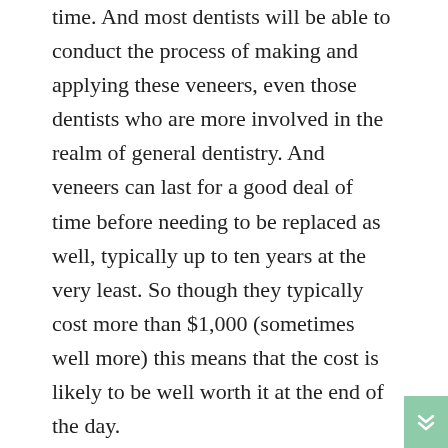time. And most dentists will be able to conduct the process of making and applying these veneers, even those dentists who are more involved in the realm of general dentistry. And veneers can last for a good deal of time before needing to be replaced as well, typically up to ten years at the very least. So though they typically cost more than $1,000 (sometimes well more) this means that the cost is likely to be well worth it at the end of the day.
Ultimately, going to visit the dentist is hugely important outside of the realm of cosmetic dentistry as well. After all, dentists can help to identify any number of important dental